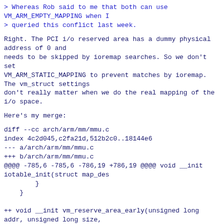> Whereas Rob said to me that both can use VM_ARM_EMPTY_MAPPING when I
> queried this conflict last week.
Right. The PCI i/o reserved area has a dummy physical address of 0 and
needs to be skipped by ioremap searches. So we don't set
VM_ARM_STATIC_MAPPING to prevent matches by ioremap. The vm_struct settings
don't really matter when we do the real mapping of the i/o space.
Here's my merge:
diff --cc arch/arm/mm/mmu.c
index 4c2d045,c2fa21d,512b2c0..18144e6
--- a/arch/arm/mm/mmu.c
+++ b/arch/arm/mm/mmu.c
@@@@ -785,6 -785,6 -786,19 +786,19 @@@@ void __init iotable_init(struct map_des
        }
    }

++ void __init vm_reserve_area_early(unsigned long addr, unsigned long size,
++                                    void *caller)
++ {
++        struct vm_struct *vm;
++